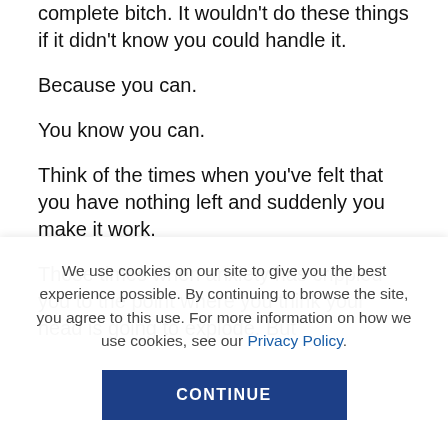complete bitch. It wouldn't do these things if it didn't know you could handle it.
Because you can.
You know you can.
Think of the times when you've felt that you have nothing left and suddenly you make it work.
Those times when anxiety has crippled you to the point where you think your head is going to explode. But
We use cookies on our site to give you the best experience possible. By continuing to browse the site, you agree to this use. For more information on how we use cookies, see our Privacy Policy.